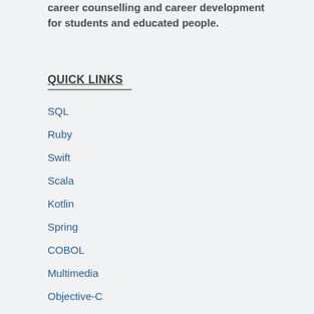career counselling and career development for students and educated people.
QUICK LINKS
SQL
Ruby
Swift
Scala
Kotlin
Spring
COBOL
Multimedia
Objective-C